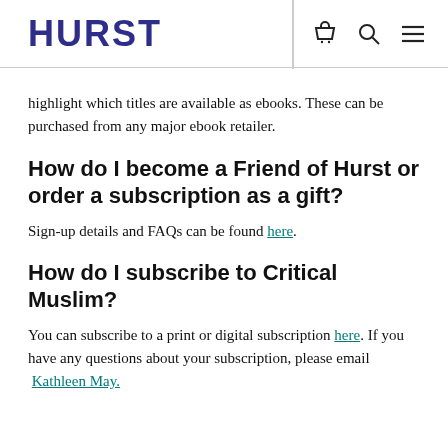HURST
highlight which titles are available as ebooks. These can be purchased from any major ebook retailer.
How do I become a Friend of Hurst or order a subscription as a gift?
Sign-up details and FAQs can be found here.
How do I subscribe to Critical Muslim?
You can subscribe to a print or digital subscription here. If you have any questions about your subscription, please email Kathleen May.